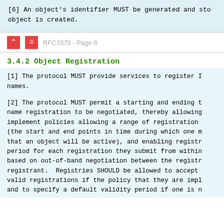[6] An object's identifier MUST be generated and sto object is created.
RFC3375 - Page 8
3.4.2 Object Registration
[1] The protocol MUST provide services to register I names.
[2] The protocol MUST permit a starting and ending t name registration to be negotiated, thereby allowing implement policies allowing a range of registration (the start and end points in time during which one m that an object will be active), and enabling registr period for each registration they submit from within based on out-of-band negotiation between the registr registrant. Registries SHOULD be allowed to accept valid registrations if the policy that they are impl and to specify a default validity period if one is n